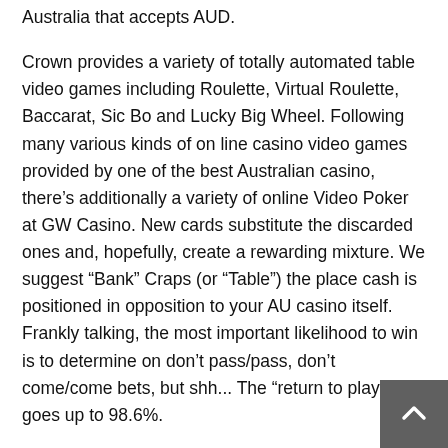Australia that accepts AUD.
Crown provides a variety of totally automated table video games including Roulette, Virtual Roulette, Baccarat, Sic Bo and Lucky Big Wheel. Following many various kinds of on line casino video games provided by one of the best Australian casino, there's additionally a variety of online Video Poker at GW Casino. New cards substitute the discarded ones and, hopefully, create a rewarding mixture. We suggest “Bank” Craps (or “Table”) the place cash is positioned in opposition to your AU casino itself. Frankly talking, the most important likelihood to win is to determine on don’t pass/pass, don’t come/come bets, but shh... The “return to player” goes up to 98.6%.
The reside sellers are the most recent addition and beloved top australian online on line casino video games. The first thing you need to do upon getting signed up at the on-line li...